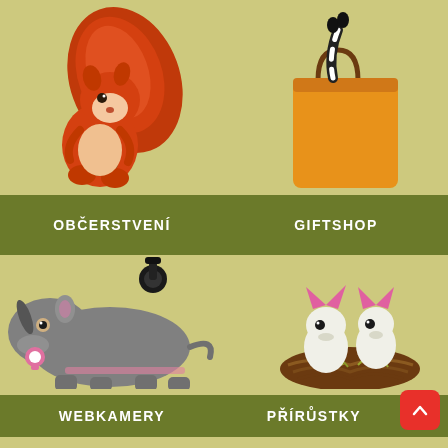[Figure (illustration): Cartoon red squirrel holding a nut, top-left quadrant]
[Figure (illustration): Cartoon animal (raccoon tail visible) in an orange gift bag, top-right quadrant]
OBČERSTVENÍ
GIFTSHOP
[Figure (illustration): Cartoon baby rhinoceros with pink pacifier and a security camera above, bottom-left quadrant]
[Figure (illustration): Two cartoon baby birds with pink ears sitting in a nest, bottom-right quadrant]
WEBKAMERY
PŘÍRŮSTKY